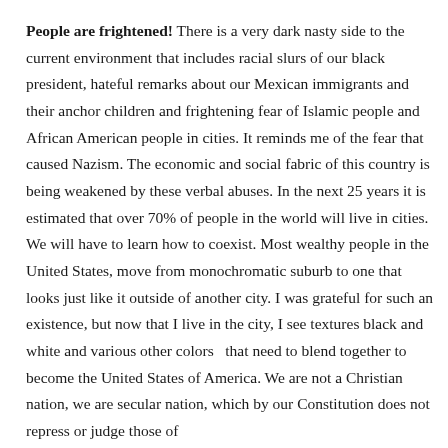People are frightened! There is a very dark nasty side to the current environment that includes racial slurs of our black president, hateful remarks about our Mexican immigrants and their anchor children and frightening fear of Islamic people and African American people in cities. It reminds me of the fear that caused Nazism. The economic and social fabric of this country is being weakened by these verbal abuses. In the next 25 years it is estimated that over 70% of people in the world will live in cities. We will have to learn how to coexist. Most wealthy people in the United States, move from monochromatic suburb to one that looks just like it outside of another city. I was grateful for such an existence, but now that I live in the city, I see textures black and white and various other colors  that need to blend together to become the United States of America. We are not a Christian nation, we are secular nation, which by our Constitution does not repress or judge those of